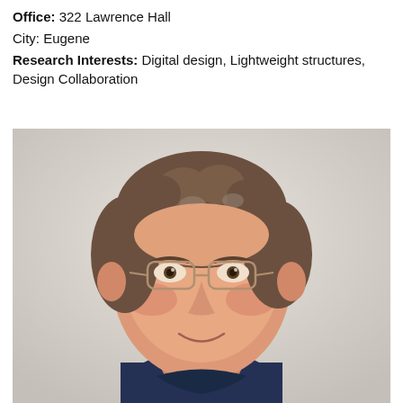Office: 322 Lawrence Hall
City: Eugene
Research Interests: Digital design, Lightweight structures, Design Collaboration
[Figure (photo): Headshot of a middle-aged man with tousled brown-grey hair, wearing wire-rimmed glasses and a navy blue polo shirt, smiling slightly, photographed against a light grey/beige background.]